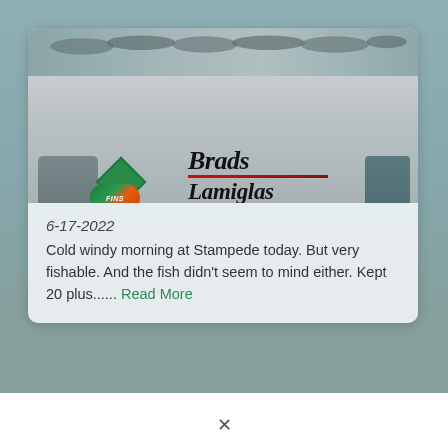[Figure (photo): Photo of fish catch on a boat deck showing multiple fish laid out, with stickers and 'Brad's Lamiglas' branding on the boat]
6-17-2022
Cold windy morning at Stampede today. But very fishable. And the fish didn't seem to mind either. Kept 20 plus...... Read More